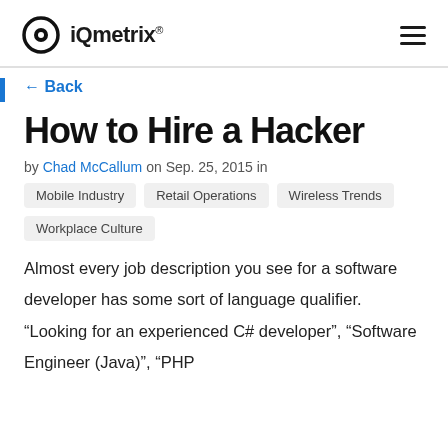iQmetrix®
← Back
How to Hire a Hacker
by Chad McCallum on Sep. 25, 2015 in
Mobile Industry
Retail Operations
Wireless Trends
Workplace Culture
Almost every job description you see for a software developer has some sort of language qualifier. “Looking for an experienced C# developer”, “Software Engineer (Java)”, “PHP